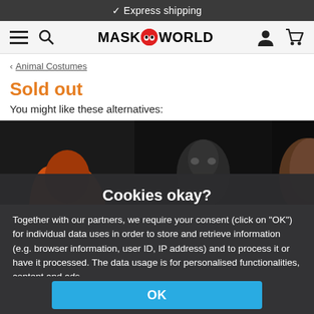✓ Express shipping
[Figure (screenshot): MaskWorld website navigation bar with hamburger menu, search icon, MASKWORLD logo, user icon, and cart icon]
< Animal Costumes
Sold out
You might like these alternatives:
[Figure (photo): Three product images showing animal/creature masks and costumes against dark backgrounds]
Cookies okay?
Together with our partners, we require your consent (click on "OK") for individual data uses in order to store and retrieve information (e.g. browser information, user ID, IP address) and to process it or have it processed. The data usage is for personalised functionalities, content and ads
OK